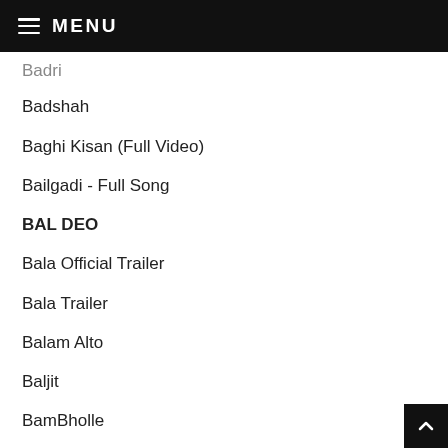MENU
Badri
Badshah
Baghi Kisan (Full Video)
Bailgadi - Full Song
BAL DEO
Bala Official Trailer
Bala Trailer
Balam Alto
Baljit
BamBholle
BAMBIHA BOLE (TEASER)
BANDANA GANG Feat. Sikander Kahlon
Bandook